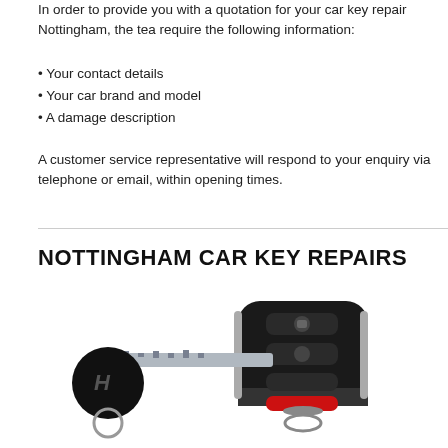In order to provide you with a quotation for your car key repair Nottingham, the tea require the following information:
Your contact details
Your car brand and model
A damage description
A customer service representative will respond to your enquiry via telephone or email, within opening times.
NOTTINGHAM CAR KEY REPAIRS
[Figure (photo): Photo of a Hyundai car key with a black 4-button remote key fob attached. The key fob has three black buttons and one red alarm button at the bottom.]